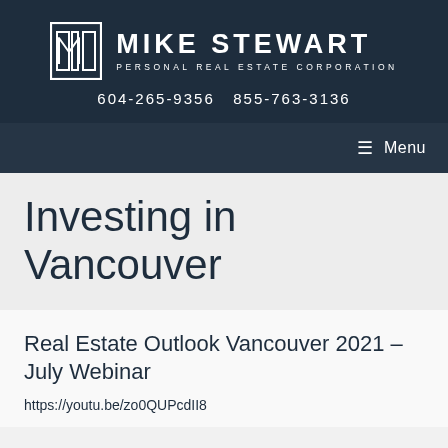MIKE STEWART PERSONAL REAL ESTATE CORPORATION 604-265-9356  855-763-3136
Menu
Investing in Vancouver
Real Estate Outlook Vancouver 2021 – July Webinar
https://youtu.be/zo0QUPcdII8